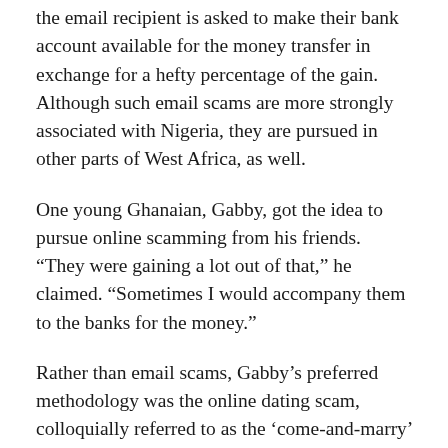the email recipient is asked to make their bank account available for the money transfer in exchange for a hefty percentage of the gain. Although such email scams are more strongly associated with Nigeria, they are pursued in other parts of West Africa, as well.
One young Ghanaian, Gabby, got the idea to pursue online scamming from his friends. “They were gaining a lot out of that,” he claimed. “Sometimes I would accompany them to the banks for the money.”
Rather than email scams, Gabby’s preferred methodology was the online dating scam, colloquially referred to as the ‘come-and-marry’ scam. Gabby and other young scammers would frequent online chatrooms or dating websites, building relationships with amorous foreigners. Typically, the young male Ghanaians would assume a fictional female persona online, attempting to lure a foreign boyfriend. Once the “boyfriend” was properly